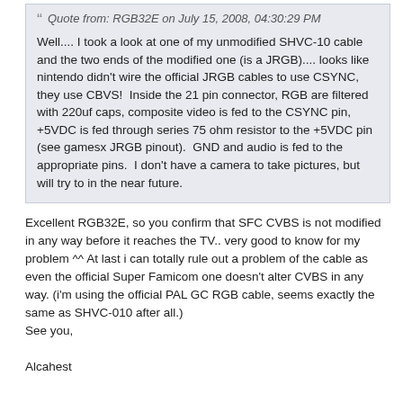Quote from: RGB32E on July 15, 2008, 04:30:29 PM
Well.... I took a look at one of my unmodified SHVC-10 cable and the two ends of the modified one (is a JRGB).... looks like nintendo didn't wire the official JRGB cables to use CSYNC, they use CBVS!  Inside the 21 pin connector, RGB are filtered with 220uf caps, composite video is fed to the CSYNC pin, +5VDC is fed through series 75 ohm resistor to the +5VDC pin (see gamesx JRGB pinout).  GND and audio is fed to the appropriate pins.  I don't have a camera to take pictures, but will try to in the near future.
Excellent RGB32E, so you confirm that SFC CVBS is not modified in any way before it reaches the TV.. very good to know for my problem ^^ At last i can totally rule out a problem of the cable as even the official Super Famicom one doesn't alter CVBS in any way. (i'm using the official PAL GC RGB cable, seems exactly the same as SHVC-010 after all.)
See you,

Alcahest